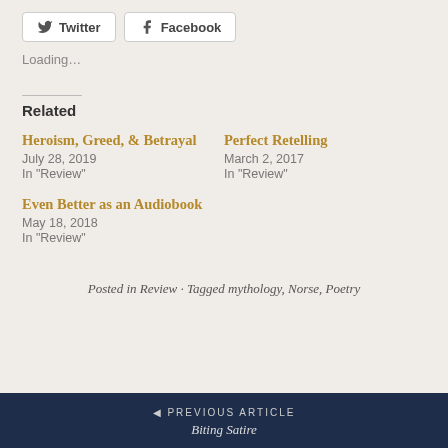[Figure (other): Twitter share button]
[Figure (other): Facebook share button]
Loading…
Related
Heroism, Greed, & Betrayal
July 28, 2019
In "Review"
Perfect Retelling
March 2, 2017
In "Review"
Even Better as an Audiobook
May 18, 2018
In "Review"
Posted in Review · Tagged mythology, Norse, Poetry
◄ PREVIOUS ARTICLE
Biting Satire